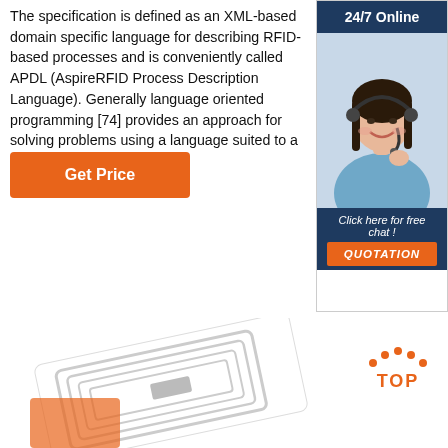The specification is defined as an XML-based domain specific language for describing RFID-based processes and is conveniently called APDL (AspireRFID Process Description Language). Generally language oriented programming [74] provides an approach for solving problems using a language suited to a given problem domain.
Get Price
[Figure (photo): Advertisement banner showing '24/7 Online' header with a woman wearing a headset smiling, and a 'Click here for free chat!' prompt with a QUOTATION button, dark navy blue background.]
[Figure (illustration): RFID tag / inlay photograph showing white label with embedded antenna coil pattern, partially red/orange colored.]
[Figure (other): TOP button icon with orange dots arranged in an arc above the word TOP in orange bold letters.]